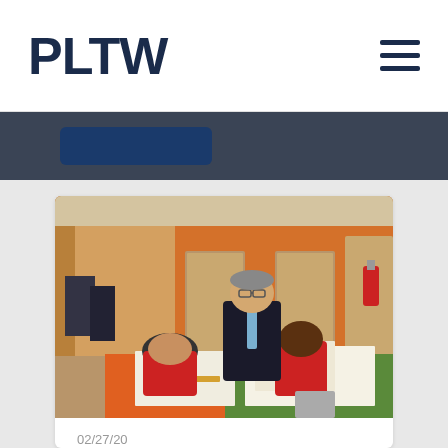PLTW
[Figure (photo): Adult in suit standing over two students who are working on design drawings on a table with orange accents in a school classroom setting]
02/27/20
Energy Institute Reimagines School